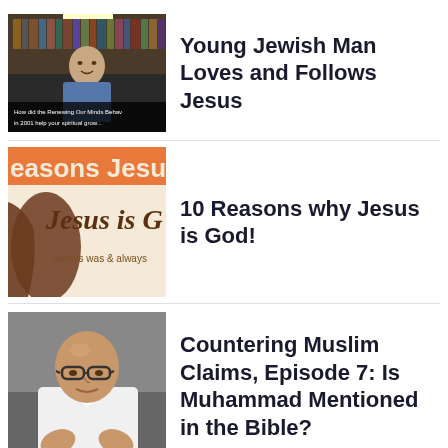[Figure (screenshot): Video thumbnail showing a young man speaking in front of bookshelves, with overlaid text about Renewing Our Minds]
Young Jewish Man Loves and Follows Jesus
[Figure (illustration): Book or poster thumbnail with orange text reading 'easons Jesus is' and brown text 'Jesus is G always was & always' with silhouette imagery]
10 Reasons why Jesus is God!
[Figure (photo): Photo of a bald man with glasses wearing a white shirt, gesturing with his hands]
Countering Muslim Claims, Episode 7: Is Muhammad Mentioned in the Bible?